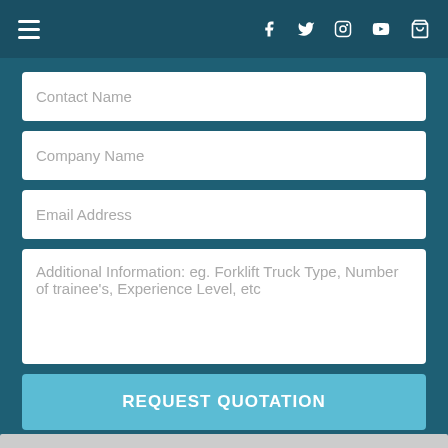Navigation header with hamburger menu and social icons (Facebook, Twitter, Instagram, YouTube, basket)
Contact Name
Company Name
Email Address
Additional Information: eg. Forklift Truck Type, Number of trainee's, Experience Level, etc
REQUEST QUOTATION